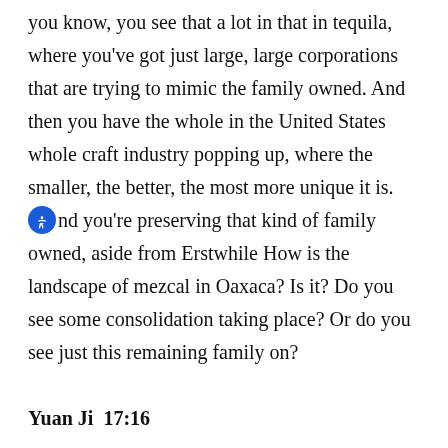you know, you see that a lot in that in tequila, where you've got just large, large corporations that are trying to mimic the family owned. And then you have the whole in the United States whole craft industry popping up, where the smaller, the better, the most more unique it is. And you're preserving that kind of family owned, aside from Erstwhile How is the landscape of mezcal in Oaxaca? Is it? Do you see some consolidation taking place? Or do you see just this remaining family on?
Yuan Ji  17:16